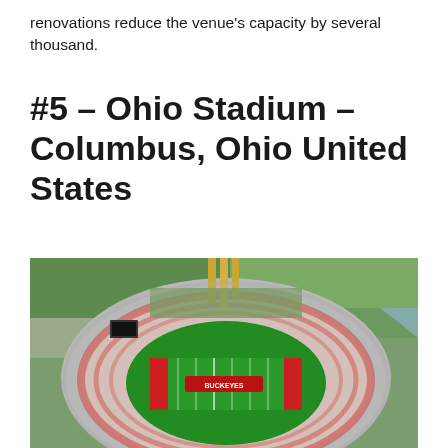renovations reduce the venue's capacity by several thousand.
#5 – Ohio Stadium – Columbus, Ohio United States
[Figure (photo): Aerial photograph of Ohio Stadium in Columbus, Ohio, showing the horseshoe-shaped football stadium with a green field, red and white seating, and surrounding campus landscape including a river and trees.]